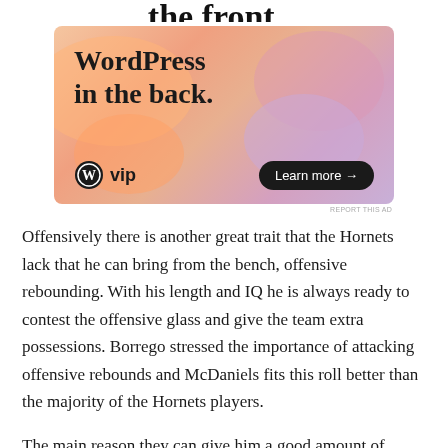[Figure (illustration): Advertisement banner for WordPress VIP showing text 'WordPress in the back.' with a colorful gradient background of orange, pink and purple blobs. Bottom row shows WordPress VIP logo on left and 'Learn more →' button on right.]
Offensively there is another great trait that the Hornets lack that he can bring from the bench, offensive rebounding. With his length and IQ he is always ready to contest the offensive glass and give the team extra possessions. Borrego stressed the importance of attacking offensive rebounds and McDaniels fits this roll better than the majority of the Hornets players.
The main reason they can give him a good amount of minutes is related to his unique defensive ability. As